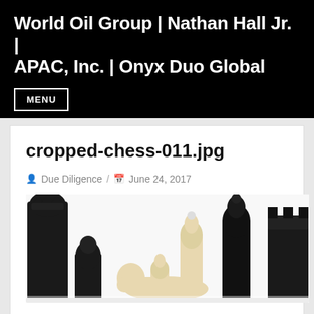World Oil Group | Nathan Hall Jr. | APAC, Inc. | Onyx Duo Global
MENU
cropped-chess-011.jpg
Due Diligence / June 24, 2017
[Figure (photo): Chess pieces arranged on a board — black and white pieces, one white piece lying on its side, showing various chess figures from a low angle]